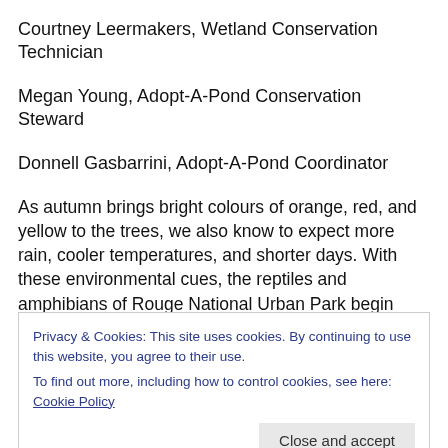Courtney Leermakers, Wetland Conservation Technician
Megan Young, Adopt-A-Pond Conservation Steward
Donnell Gasbarrini, Adopt-A-Pond Coordinator
As autumn brings bright colours of orange, red, and yellow to the trees, we also know to expect more rain, cooler temperatures, and shorter days. With these environmental cues, the reptiles and amphibians of Rouge National Urban Park begin traveling and settling into their overwintering sites. All reptiles and amphibians are
Privacy & Cookies: This site uses cookies. By continuing to use this website, you agree to their use.
To find out more, including how to control cookies, see here: Cookie Policy
Close and accept
dramatically, their metabolism slows to a near-halt, and